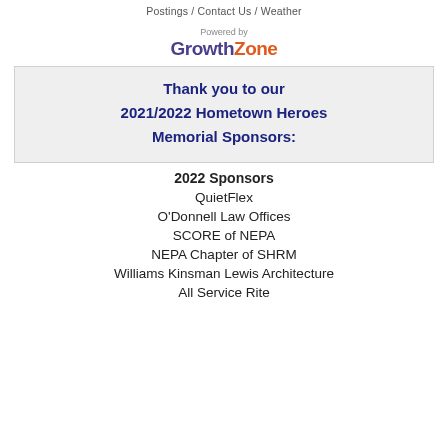Postings / Contact Us / Weather
[Figure (logo): GrowthZone logo with 'Powered by' text above. 'Growth' in purple, 'Zone' in orange.]
Thank you to our 2021/2022 Hometown Heroes Memorial Sponsors:
2022 Sponsors
QuietFlex
O'Donnell Law Offices
SCORE of NEPA
NEPA Chapter of SHRM
Williams Kinsman Lewis Architecture
All Service Rite